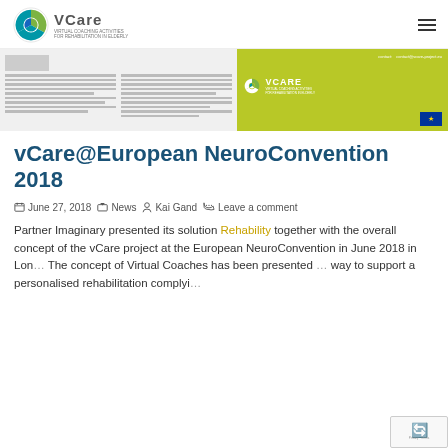vCare - Virtual Coaching Activities for Rehabilitation in Elderly
[Figure (screenshot): Screenshot of vCare project website banner showing text columns on the left and a yellow-green vCare branded panel on the right with contact information and EU flag]
vCare@European NeuroConvention 2018
June 27, 2018  News  Kai Gand  Leave a comment
Partner Imaginary presented its solution Rehability together with the overall concept of the vCare project at the European NeuroConvention in June 2018 in London. The concept of Virtual Coaches has been presented as a way to support a personalised rehabilitation complying